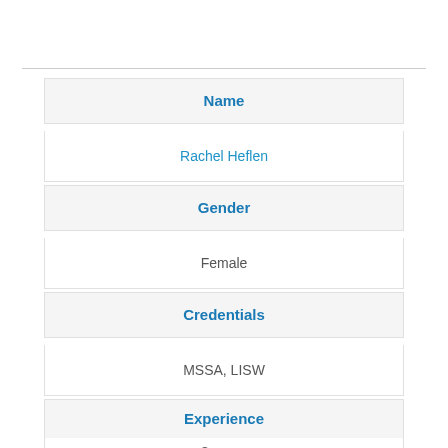Name
Rachel Heflen
Gender
Female
Credentials
MSSA, LISW
Experience
3 years
Language